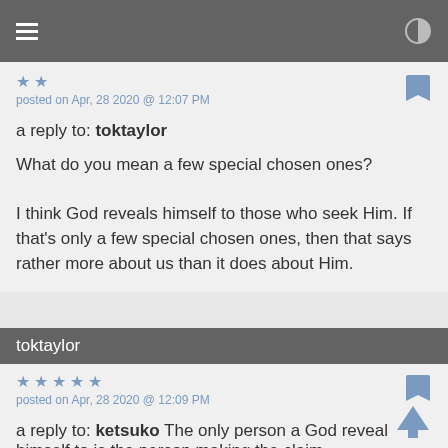≡  ◑
★ ★
posted on Apr, 28 2020 @ 12:07 PM
a reply to: toktaylor
What do you mean a few special chosen ones?

I think God reveals himself to those who seek Him. If that's only a few special chosen ones, then that says rather more about us than it does about Him.
toktaylor
★ ★ ★ ★ ★
posted on Apr, 28 2020 @ 12:09 PM
a reply to: ketsuko The only person a God reveal himself to is the person making the claim.